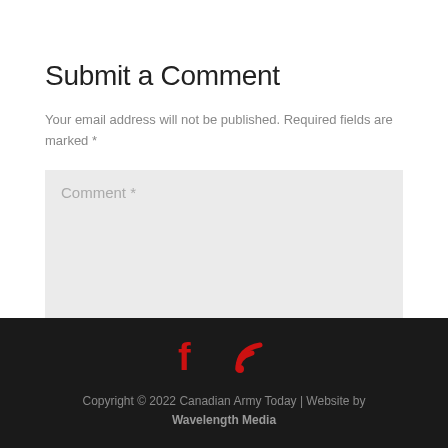Submit a Comment
Your email address will not be published. Required fields are marked *
Comment *
Copyright © 2022 Canadian Army Today | Website by Wavelength Media